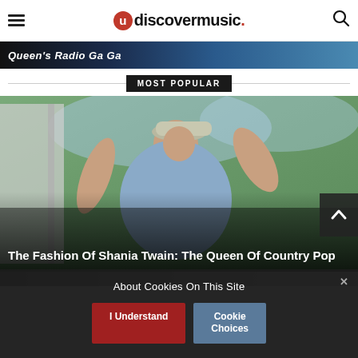uDiscoverMusic
Queen's Radio Ga Ga
MOST POPULAR
[Figure (photo): A woman wearing a light blue top and a grey hat, shielding her eyes with one hand, outdoors with trees in background — Shania Twain fashion photo]
The Fashion Of Shania Twain: The Queen Of Country Pop
[Figure (photo): Partially visible second article image strip at bottom]
About Cookies On This Site
I Understand
Cookie Choices